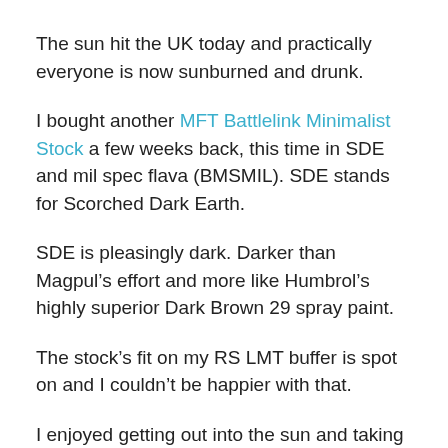The sun hit the UK today and practically everyone is now sunburned and drunk.
I bought another MFT Battlelink Minimalist Stock a few weeks back, this time in SDE and mil spec flava (BMSMIL). SDE stands for Scorched Dark Earth.
SDE is pleasingly dark. Darker than Magpul’s effort and more like Humbrol’s highly superior Dark Brown 29 spray paint.
The stock’s fit on my RS LMT buffer is spot on and I couldn’t be happier with that.
I enjoyed getting out into the sun and taking some pics,